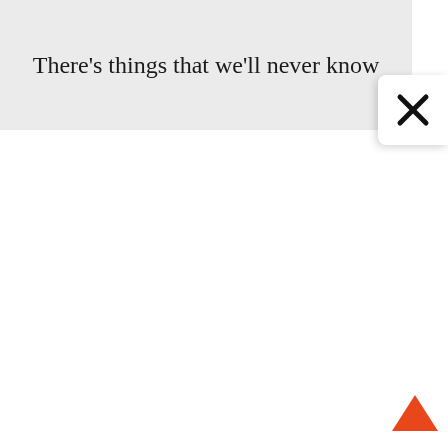There's things that we'll never know
[Figure (other): Close button (X) in white rounded box in top-right area]
[Figure (other): Up/back-to-top arrow button in orange/red at bottom-right]